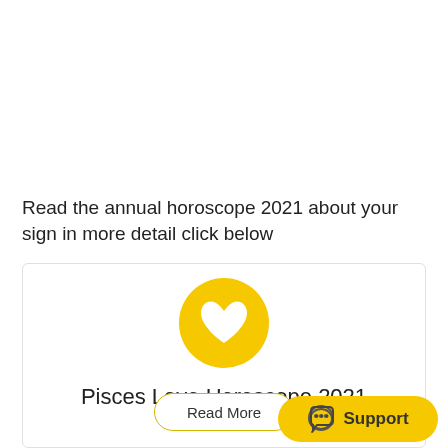Read the annual horoscope 2021 about your sign in more detail click below
[Figure (illustration): Card with a yellow circle heart icon, title 'Pisces Love Horoscope 2021', and a 'Read More' button with rounded yellow border]
[Figure (other): Yellow rounded pill-shaped Support button with a chat/speech bubble icon in the bottom right corner]